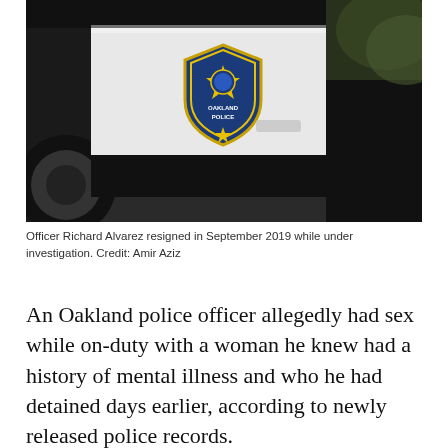[Figure (photo): Close-up photo of an Oakland Police Department vehicle showing the department badge/shield logo on the car door. The badge is blue and gold with a star, on a white car door panel. The background shows bokeh of greenery.]
Officer Richard Alvarez resigned in September 2019 while under investigation. Credit: Amir Aziz
An Oakland police officer allegedly had sex while on-duty with a woman he knew had a history of mental illness and who he had detained days earlier, according to newly released police records.
The Oakland Police Department found that the...